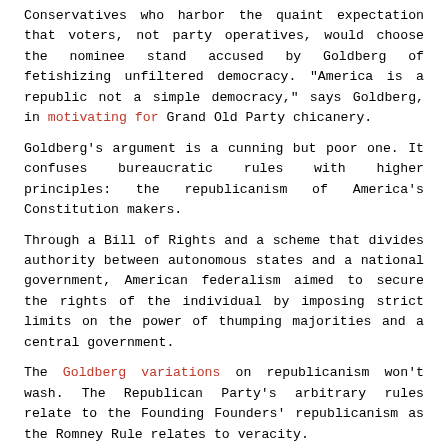Conservatives who harbor the quaint expectation that voters, not party operatives, would choose the nominee stand accused by Goldberg of fetishizing unfiltered democracy. "America is a republic not a simple democracy," says Goldberg, in motivating for Grand Old Party chicanery.
Goldberg's argument is a cunning but poor one. It confuses bureaucratic rules with higher principles: the republicanism of America's Constitution makers.
Through a Bill of Rights and a scheme that divides authority between autonomous states and a national government, American federalism aimed to secure the rights of the individual by imposing strict limits on the power of thumping majorities and a central government.
The Goldberg variations on republicanism won't wash. The Republican Party's arbitrary rules relate to the Founding Founders' republicanism as the Romney Rule relates to veracity.
The Romney initiated Rule 40(b) is a recent addition to the Republican Party rule book. It stipulates that in order to win the nomination, a candidate must demonstrate he has earned a majority of delegates from at least eight different states. Rule 40 (b) was passed post-haste to thwart libertarian candidate Ron Paul. Party crooks and their lawyers now find themselves in a pickle, because Governor John Kasich, candidate for the establishment (including the New York Times and the Huffington Post), has yet to meet the Republican rule du jour.
So, what do The Rulers do? They plan to change the rules. Again.